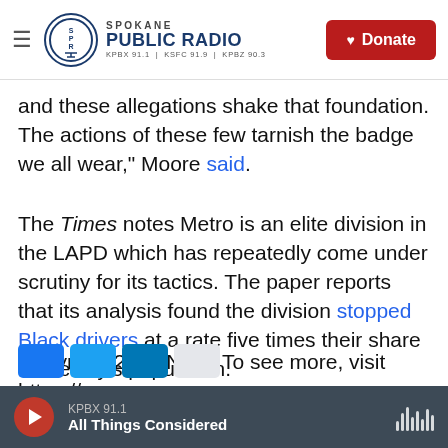Spokane Public Radio — KPBX 91.1 | KSFC 91.9 | KPBZ 90.3 — Donate
and these allegations shake that foundation. The actions of these few tarnish the badge we all wear," Moore said.
The Times notes Metro is an elite division in the LAPD which has repeatedly come under scrutiny for its tactics. The paper reports that its analysis found the division stopped Black drivers at a rate five times their share of the city's population.
Copyright 2021 NPR. To see more, visit https://www.npr.org.
KPBX 91.1 — All Things Considered